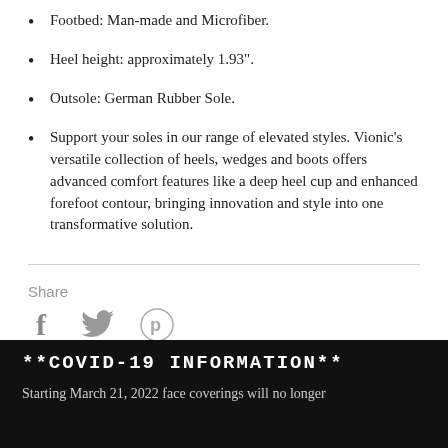Footbed: Man-made and Microfiber.
Heel height: approximately 1.93".
Outsole: German Rubber Sole.
Support your soles in our range of elevated styles. Vionic’s versatile collection of heels, wedges and boots offers advanced comfort features like a deep heel cup and enhanced forefoot contour, bringing innovation and style into one transformative solution.
Share
[Figure (infographic): Social media share icons: Facebook (f), Twitter (bird), Pinterest (p)]
**COVID-19 INFORMATION**
Starting March 21, 2022 face coverings will no longer